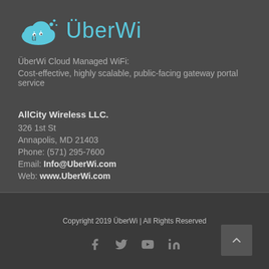[Figure (logo): ÜberWi cloud logo with cloud icon and text 'ÜberWi' in light blue]
ÜberWi Cloud Managed WiFi:
Cost-effective, highly scalable, public-facing gateway portal service
AllCity Wireless LLC.
326 1st St
Annapolis, MD 21403
Phone: (571) 295-7600
Email: Info@UberWi.com
Web: www.UberWi.com
Copyright 2019 ÜberWi | All Rights Reserved